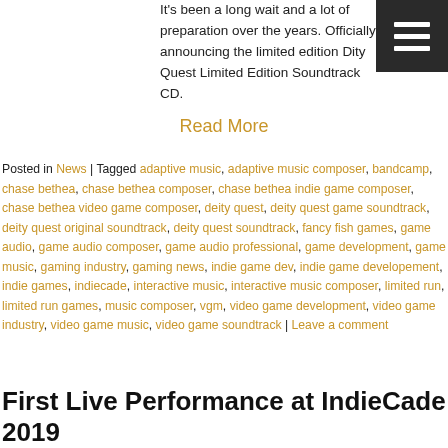It's been a long wait and a lot of preparation over the years. Officially announcing the limited edition Deity Quest Limited Edition Soundtrack CD.
Read More
Posted in News | Tagged adaptive music, adaptive music composer, bandcamp, chase bethea, chase bethea composer, chase bethea indie game composer, chase bethea video game composer, deity quest, deity quest game soundtrack, deity quest original soundtrack, deity quest soundtrack, fancy fish games, game audio, game audio composer, game audio professional, game development, game music, gaming industry, gaming news, indie game dev, indie game developement, indie games, indiecade, interactive music, interactive music composer, limited run, limited run games, music composer, vgm, video game development, video game industry, video game music, video game soundtrack | Leave a comment
First Live Performance at IndieCade 2019